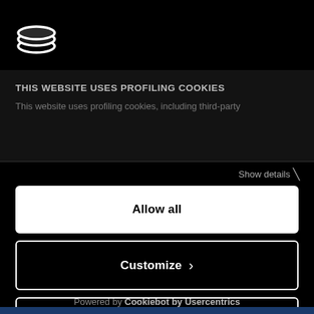[Figure (logo): White layered ellipse / hat-like logo icon on black background]
THIS WEBSITE USES PROFILING COOKIES
This website uses profiling cookies, including third-party
Show details
Allow all
Customize
Deny
Powered by Cookiebot by Usercentrics